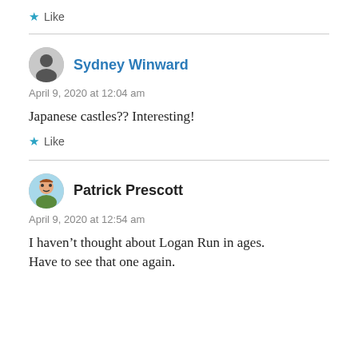★ Like
Sydney Winward
April 9, 2020 at 12:04 am
Japanese castles?? Interesting!
★ Like
Patrick Prescott
April 9, 2020 at 12:54 am
I haven’t thought about Logan Run in ages. Have to see that one again.